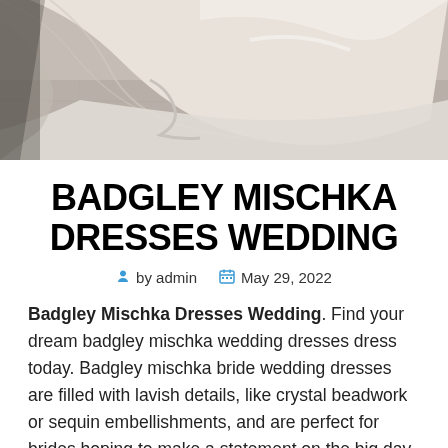[Figure (photo): Close-up photo of the lower portion of a white/cream wedding dress with flowing fabric and train on a light stone floor]
BADGLEY MISCHKA DRESSES WEDDING
by admin   May 29, 2022
Badgley Mischka Dresses Wedding. Find your dream badgley mischka wedding dresses dress today. Badgley mischka bride wedding dresses are filled with lavish details, like crystal beadwork or sequin embellishments, and are perfect for brides hoping to make a statement on the big day.